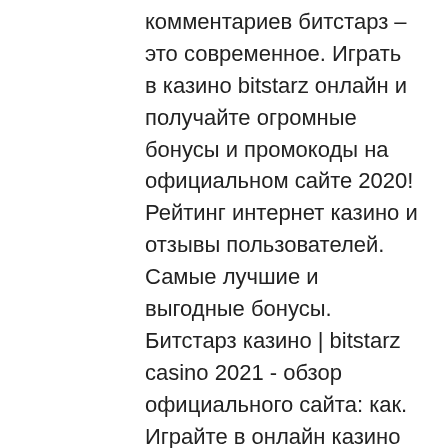комментариев битстарз – это современное. Играть в казино bitstarz онлайн и получайте огромные бонусы и промокоды на официальном сайте 2020! Рейтинг интернет казино и отзывы пользователей. Самые лучшие и выгодные бонусы. Битстарз казино | bitstarz casino 2021 - обзор официального сайта: как. Играйте в онлайн казино bitstarz casino официальный сайт ⚡ ( битстарз казино ) и игровые автоматы онлайн. Лучшие азартные слоты и бонусы. Неподдельные отзывы о битстарз - игроки разбирают казино bitstarz по косточкам, вся правда в комментариях. Информация бонусы платежные системы поддержка отзывы жалобы. Написать отзыв 3 отзывов. Обзор онлайн-казино bitstarz - лучшее биткоин казино